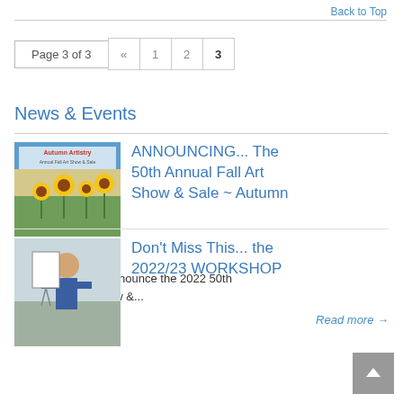Back to Top
Page 3 of 3  «  1  2  3
News & Events
ANNOUNCING... The 50th Annual Fall Art Show & Sale ~ Autumn Artistry ~
We are thrilled to announce the 2022 50th Annual Fall Art Show &...
Read more →
Don't Miss This... the 2022/23 WORKSHOP